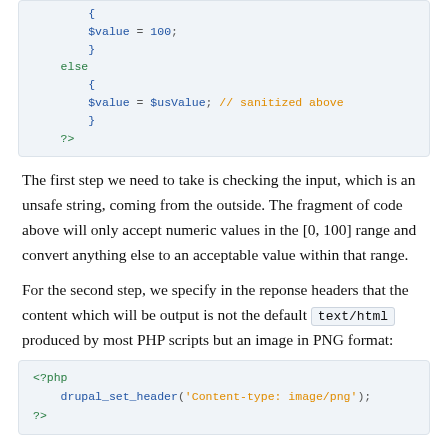[Figure (screenshot): Code block showing PHP snippet with $value = 100; }, else { $value = $usValue; // sanitized above }, ?>]
The first step we need to take is checking the input, which is an unsafe string, coming from the outside. The fragment of code above will only accept numeric values in the [0, 100] range and convert anything else to an acceptable value within that range.
For the second step, we specify in the reponse headers that the content which will be output is not the default text/html produced by most PHP scripts but an image in PNG format:
[Figure (screenshot): Code block showing PHP snippet: <?php drupal_set_header('Content-type: image/png'); ?>]